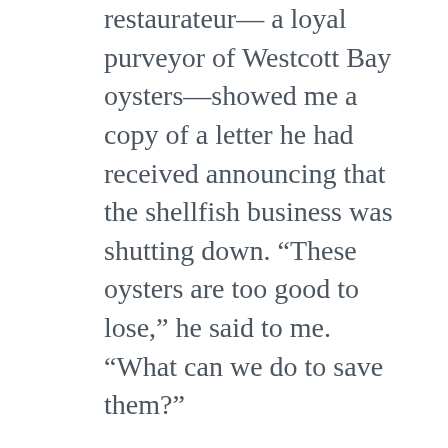restaurateur— a loyal purveyor of Westcott Bay oysters—showed me a copy of a letter he had received announcing that the shellfish business was shutting down. “These oysters are too good to lose,” he said to me. “What can we do to save them?”
Once part of the historic English army encampment, the Webb’s land was adjacent to what is now the National Park Service’s “English Camp.” Soon after learning of the sale listing, I received a call from Peter Dederich, superintendent of the National Historical Park. Peter had a dream to